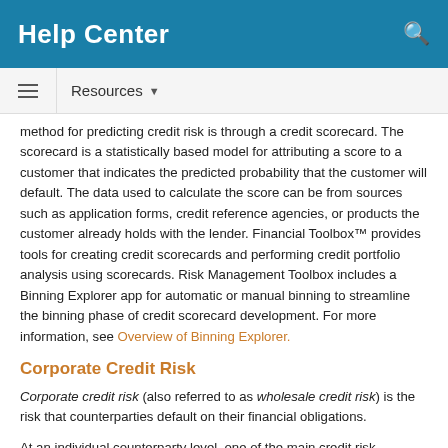Help Center
Resources ▼
method for predicting credit risk is through a credit scorecard. The scorecard is a statistically based model for attributing a score to a customer that indicates the predicted probability that the customer will default. The data used to calculate the score can be from sources such as application forms, credit reference agencies, or products the customer already holds with the lender. Financial Toolbox™ provides tools for creating credit scorecards and performing credit portfolio analysis using scorecards. Risk Management Toolbox includes a Binning Explorer app for automatic or manual binning to streamline the binning phase of credit scorecard development. For more information, see Overview of Binning Explorer.
Corporate Credit Risk
Corporate credit risk (also referred to as wholesale credit risk) is the risk that counterparties default on their financial obligations.
At an individual counterparty level, one of the main credit risk parameters is the probability of default (PD). Risk Management Toolbox allows you to estimate probabilities of default using the